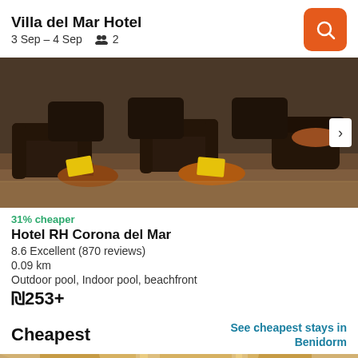Villa del Mar Hotel
3 Sep – 4 Sep   👥 2
[Figure (photo): Interior of Hotel RH Corona del Mar showing dark leather armchairs and round wooden tables in a lounge area, with a right-arrow navigation button]
31% cheaper
Hotel RH Corona del Mar
8.6 Excellent (870 reviews)
0.09 km
Outdoor pool, Indoor pool, beachfront
₪253+
Cheapest
See cheapest stays in Benidorm
[Figure (photo): Partial view of a hotel room interior with warm lighting and wooden furniture panels, with a '2-star hotel' badge overlay]